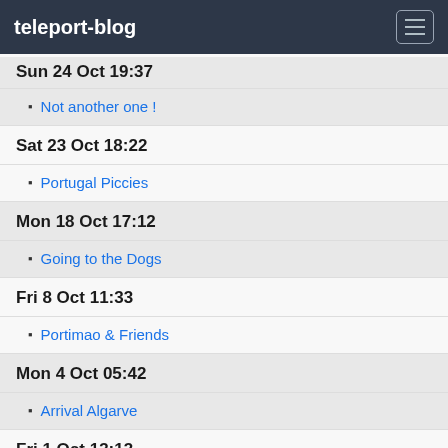teleport-blog
Sun 24 Oct 19:37
Not another one !
Sat 23 Oct 18:22
Portugal Piccies
Mon 18 Oct 17:12
Going to the Dogs
Fri 8 Oct 11:33
Portimao & Friends
Mon 4 Oct 05:42
Arrival Algarve
Fri 1 Oct 13:13
Starfish in the Bed
Sep 2010
Thu 30 Sep 19:23
Offshore Portugal